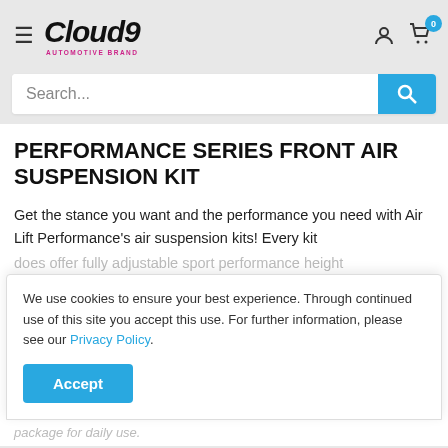[Figure (logo): Cloud9 Automotive Brand logo in italic script with pink subtitle text]
Search...
PERFORMANCE SERIES FRONT AIR SUSPENSION KIT
Get the stance you want and the performance you need with Air Lift Performance's air suspension kits! Every kit
We use cookies to ensure your best experience. Through continued use of this site you accept this use. For further information, please see our Privacy Policy.
Accept
package for daily use.